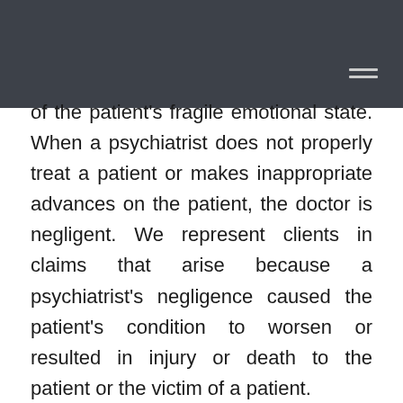of the patient's fragile emotional state. When a psychiatrist does not properly treat a patient or makes inappropriate advances on the patient, the doctor is negligent. We represent clients in claims that arise because a psychiatrist's negligence caused the patient's condition to worsen or resulted in injury or death to the patient or the victim of a patient.
There are many circumstances in which a psychiatrist can improperly treat a patient